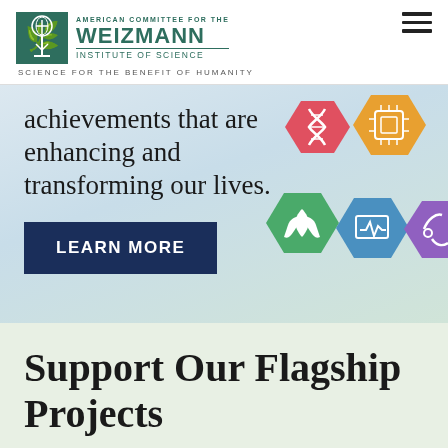AMERICAN COMMITTEE FOR THE WEIZMANN INSTITUTE OF SCIENCE | SCIENCE FOR THE BENEFIT OF HUMANITY
achievements that are enhancing and transforming our lives.
[Figure (illustration): Six colorful hexagonal icons representing scientific fields: DNA (red), microchip (orange), plant/sustainability (green), medical monitor (blue), and a partial purple icon]
LEARN MORE
Support Our Flagship Projects